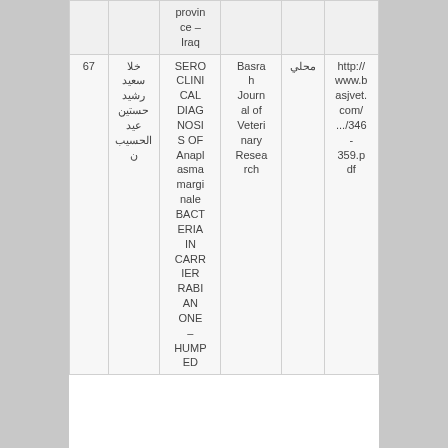| # | Author | Title | Source | Type | Link |
| --- | --- | --- | --- | --- | --- |
|  |  | province – Iraq |  |  |  |
| 67 | خلا سعيد رشيد حستين عيد الحسيب ن | SEROCLINICAL DIAGNOSIS OF Anaplasma marginale BACTERIA IN CARRIER RABIAN ONE – HUMPED | Basrah Journal of Veterinary Research | محلي | http://www.basjvet.com/.../346-359.pdf |